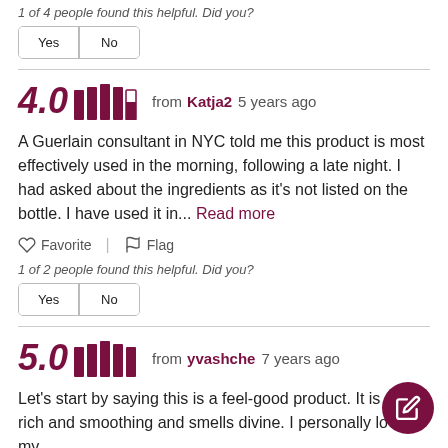1 of 4 people found this helpful. Did you?
Yes | No
4.0 ★★★★☆ from Katja2 5 years ago
A Guerlain consultant in NYC told me this product is most effectively used in the morning, following a late night. I had asked about the ingredients as it's not listed on the bottle. I have used it in... Read more
♡ Favorite | ⚑ Flag
1 of 2 people found this helpful. Did you?
Yes | No
5.0 ★★★★★ from yvashche 7 years ago
Let's start by saying this is a feel-good product. It is super rich and smoothing and smells divine. I personally love my...